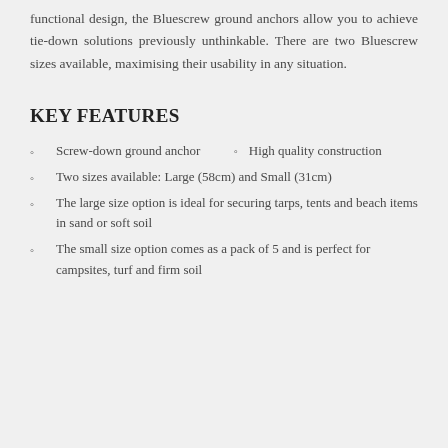functional design, the Bluescrew ground anchors allow you to achieve tie-down solutions previously unthinkable. There are two Bluescrew sizes available, maximising their usability in any situation.
KEY FEATURES
Screw-down ground anchor   ◦   High quality construction
Two sizes available: Large (58cm) and Small (31cm)
The large size option is ideal for securing tarps, tents and beach items in sand or soft soil
The small size option comes as a pack of 5 and is perfect for campsites, turf and firm soil